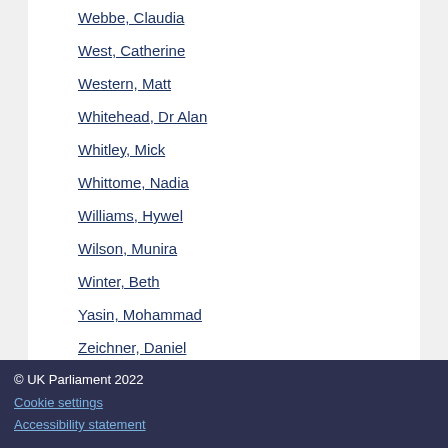Webbe, Claudia
West, Catherine
Western, Matt
Whitehead, Dr Alan
Whitley, Mick
Whittome, Nadia
Williams, Hywel
Wilson, Munira
Winter, Beth
Yasin, Mohammad
Zeichner, Daniel
© UK Parliament 2022
Cookie settings
Accessibility statement